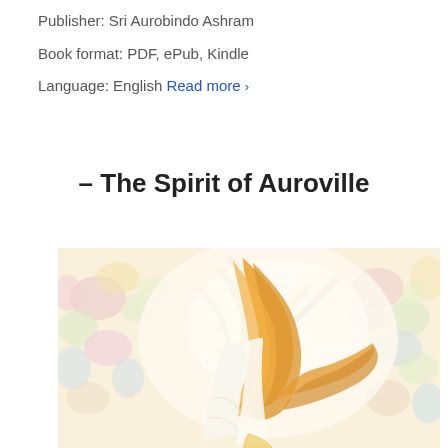Publisher: Sri Aurobindo Ashram
Book format: PDF, ePub, Kindle
Language: English Read more >
– The Spirit of Auroville
[Figure (illustration): Impressionistic painting of a figure with flowing orange hair and white robes, surrounded by colorful floral background in soft pastel tones of pink, yellow, green, and blue.]